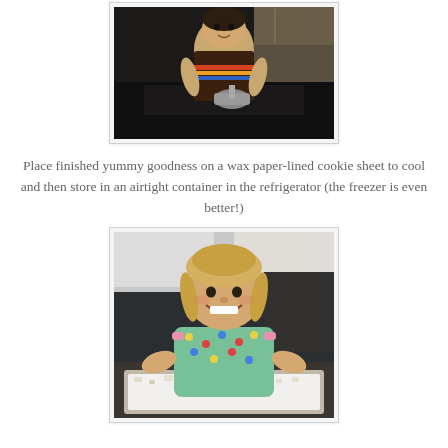[Figure (photo): A child in a brown t-shirt with colorful stripes holding a metal pot or cooking utensil in a kitchen setting with dark cabinets]
Place finished yummy goodness on a wax paper-lined cookie sheet to cool and then store in an airtight container in the refrigerator (the freezer is even better!)
[Figure (photo): A smiling toddler girl with braids wearing a green polka-dot shirt, leaning over a baking sheet covered with powdered sugar-coated snack mix (puppy chow/muddy buddies)]